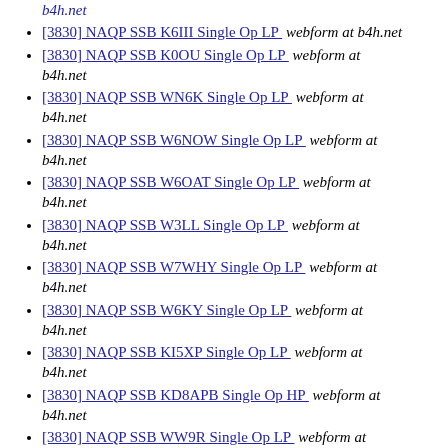b4h.net
[3830] NAQP SSB K6III Single Op LP   webform at b4h.net
[3830] NAQP SSB K0OU Single Op LP   webform at b4h.net
[3830] NAQP SSB WN6K Single Op LP   webform at b4h.net
[3830] NAQP SSB W6NOW Single Op LP   webform at b4h.net
[3830] NAQP SSB W6OAT Single Op LP   webform at b4h.net
[3830] NAQP SSB W3LL Single Op LP   webform at b4h.net
[3830] NAQP SSB W7WHY Single Op LP   webform at b4h.net
[3830] NAQP SSB W6KY Single Op LP   webform at b4h.net
[3830] NAQP SSB KI5XP Single Op LP   webform at b4h.net
[3830] NAQP SSB KD8APB Single Op HP   webform at b4h.net
[3830] NAQP SSB WW9R Single Op LP   webform at b4h.net
[3830] NAQP SSB K0UK Single Op LP   webform at b4h.net
[3830] UKDX RTTY KI5XP Single Op LP   webform at